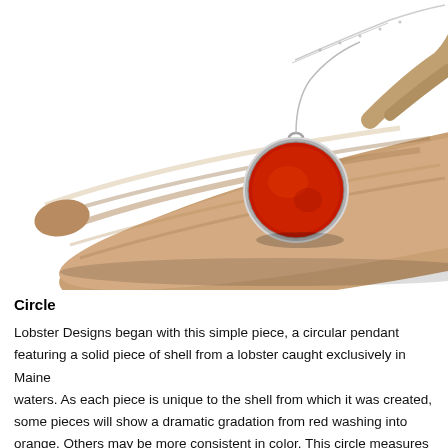[Figure (photo): A circular red pendant necklace with a silver bezel setting resting on a piece of driftwood against a white background. The pendant features a vivid red lobster shell piece. A silver chain is visible extending to the upper right.]
Circle
Lobster Designs began with this simple piece, a circular pendant featuring a solid piece of shell from a lobster caught exclusively in Maine waters. As each piece is unique to the shell from which it was created, some pieces will show a dramatic gradation from red washing into orange. Others may be more consistent in color.  This  circle measures